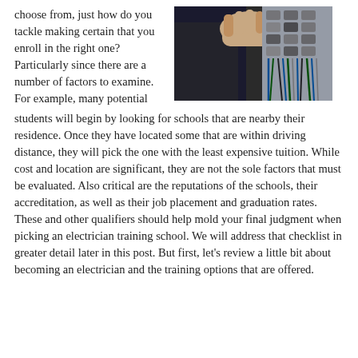choose from, just how do you tackle making certain that you enroll in the right one? Particularly since there are a number of factors to examine. For example, many potential students will begin by looking for schools that are nearby their residence. Once they have located some that are within driving distance, they will pick the one with the least expensive tuition. While cost and location are significant, they are not the sole factors that must be evaluated. Also critical are the reputations of the schools, their accreditation, as well as their job placement and graduation rates. These and other qualifiers should help mold your final judgment when picking an electrician training school. We will address that checklist in greater detail later in this post. But first, let's review a little bit about becoming an electrician and the training options that are offered.
[Figure (photo): A person's hand working on an electrical panel with wires and circuit breakers, wearing a dark jacket]